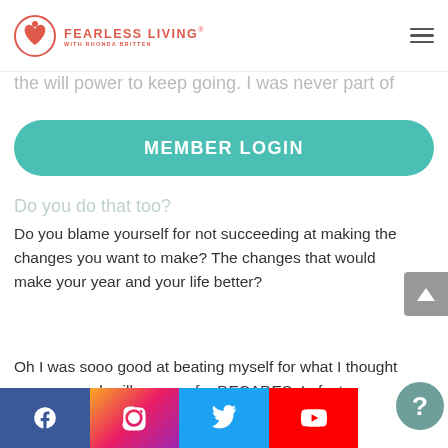Fearless Living® with Rhonda Britten
the will power to keep going. I was never part of
MEMBER LOGIN
Do you do that too?
Do you blame yourself for not succeeding at making the changes you want to make? The changes that would make your year and your life better?
Oh I was sooo good at beating myself for what I thought was my weak will power…for DECADES. In fact, MULTIPLE DECADES.
Gosh, I think of the years I wasted putting myself down. Thank God I believe there is no such thing as wasted time.
Facebook, Instagram, Twitter, YouTube, Help